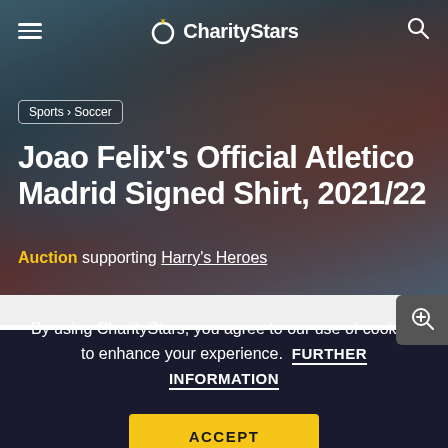CharityStars
Sports › Soccer
Joao Felix's Official Atletico Madrid Signed Shirt, 2021/22
Auction supporting Harry's Heroes
By using CharityStars, you agree to our use of cookies to enhance your experience.  FURTHER INFORMATION
ACCEPT